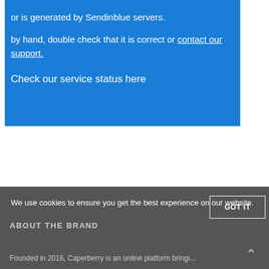or is generated by Sendinblue servers.
by hand, double check that it is correct or contact our support.
Check our service status here
We use cookies to ensure you get the best experience on our website.
GOT IT
ABOUT THE BRAND
Founded in 2016, Caperberry is an online platform bringi...